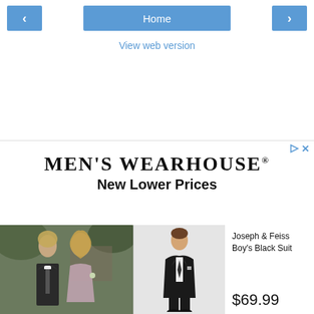< Home >
View web version
[Figure (screenshot): Men's Wearhouse advertisement with logo, tagline 'New Lower Prices', a couple in formalwear, a boy's black suit product image, and price $69.99]
MEN'S WEARHOUSE®
New Lower Prices
Joseph & Feiss Boy's Black Suit
$69.99